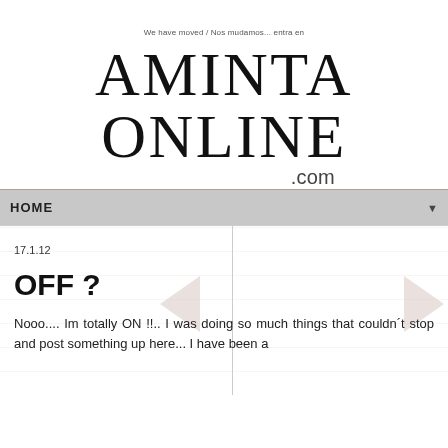We have moved / Nos mudamos... entra en
AMINTA ONLINE .com
HOME
17.1.12
OFF ?
Nooo.... Im totally ON !!.. I was doing so much things that couldn´t stop and post something up here... I have been a